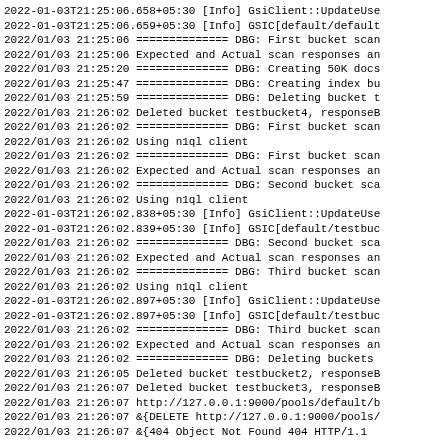2022-01-03T21:25:06.658+05:30 [Info] GsiClient::UpdateUse
2022-01-03T21:25:06.659+05:30 [Info] GSIC[default/default
2022/01/03 21:25:06 ============== DBG: First bucket scan
2022/01/03 21:25:06 Expected and Actual scan responses an
2022/01/03 21:25:20 ============== DBG: Creating 50K docs
2022/01/03 21:25:47 ============== DBG: Creating index bu
2022/01/03 21:25:59 ============== DBG: Deleting bucket t
2022/01/03 21:26:02 Deleted bucket testbucket4, responseB
2022/01/03 21:26:02 ============== DBG: First bucket scan
2022/01/03 21:26:02 Using n1ql client
2022/01/03 21:26:02 ============== DBG: First bucket scan
2022/01/03 21:26:02 Expected and Actual scan responses an
2022/01/03 21:26:02 ============== DBG: Second bucket sca
2022/01/03 21:26:02 Using n1ql client
2022-01-03T21:26:02.838+05:30 [Info] GsiClient::UpdateUse
2022-01-03T21:26:02.839+05:30 [Info] GSIC[default/testbuc
2022/01/03 21:26:02 ============== DBG: Second bucket sca
2022/01/03 21:26:02 Expected and Actual scan responses an
2022/01/03 21:26:02 ============== DBG: Third bucket scan
2022/01/03 21:26:02 Using n1ql client
2022-01-03T21:26:02.897+05:30 [Info] GsiClient::UpdateUse
2022-01-03T21:26:02.897+05:30 [Info] GSIC[default/testbuc
2022/01/03 21:26:02 ============== DBG: Third bucket scan
2022/01/03 21:26:02 Expected and Actual scan responses an
2022/01/03 21:26:02 ============== DBG: Deleting buckets
2022/01/03 21:26:05 Deleted bucket testbucket2, responseB
2022/01/03 21:26:07 Deleted bucket testbucket3, responseB
2022/01/03 21:26:07 http://127.0.0.1:9000/pools/default/b
2022/01/03 21:26:07 &{DELETE http://127.0.0.1:9000/pools/
2022/01/03 21:26:07 &{404 Object Not Found 404 HTTP/1.1